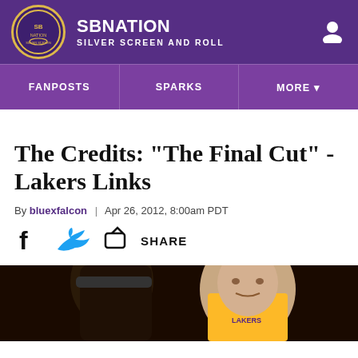SBNATION SILVER SCREEN AND ROLL
The Credits: "The Final Cut" - Lakers Links
By bluexfalcon | Apr 26, 2012, 8:00am PDT
[Figure (screenshot): Bottom photo of two basketball players, one in Lakers yellow jersey, partially cropped, dark background]
[Figure (logo): SB Nation Silver Screen and Roll site header with purple background, circular logo, and navigation bar with FANPOSTS, SPARKS, MORE links]